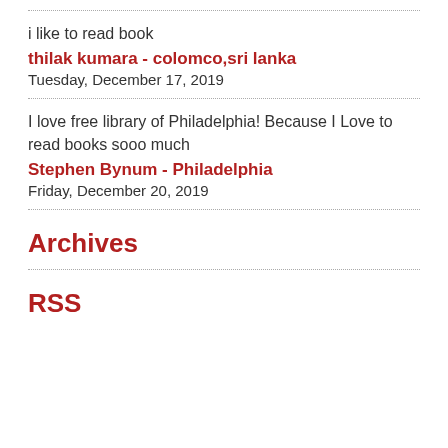i like to read book
thilak kumara - colomco,sri lanka
Tuesday, December 17, 2019
I love free library of Philadelphia! Because I Love to read books sooo much
Stephen Bynum - Philadelphia
Friday, December 20, 2019
Archives
RSS